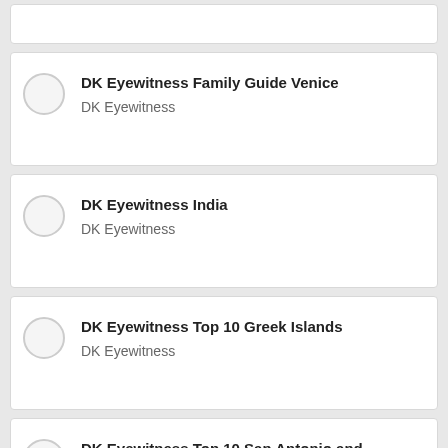(partial card — top cut off)
DK Eyewitness Family Guide Venice
DK Eyewitness
DK Eyewitness India
DK Eyewitness
DK Eyewitness Top 10 Greek Islands
DK Eyewitness
DK Eyewitness Top 10 San Antonio and
DK Eyewitness